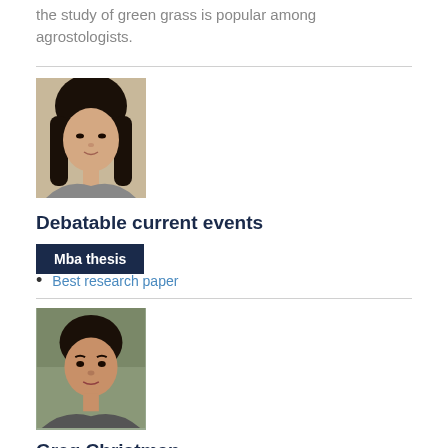the study of green grass is popular among agrostologists.
[Figure (photo): Headshot of a young woman with long dark hair]
Debatable current events
Mba thesis
Best research paper
[Figure (photo): Headshot of a young man with short dark hair]
Greg Christman
Happy with the order.